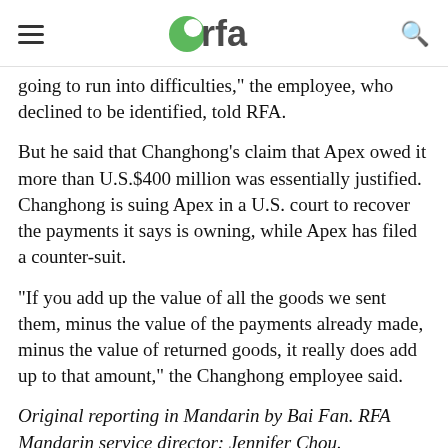rfa
going to run into difficulties," the employee, who declined to be identified, told RFA.
But he said that Changhong's claim that Apex owed it more than U.S.$400 million was essentially justified. Changhong is suing Apex in a U.S. court to recover the payments it says is owning, while Apex has filed a counter-suit.
"If you add up the value of all the goods we sent them, minus the value of the payments already made, minus the value of returned goods, it really does add up to that amount," the Changhong employee said.
Original reporting in Mandarin by Bai Fan. RFA Mandarin service director: Jennifer Chou.